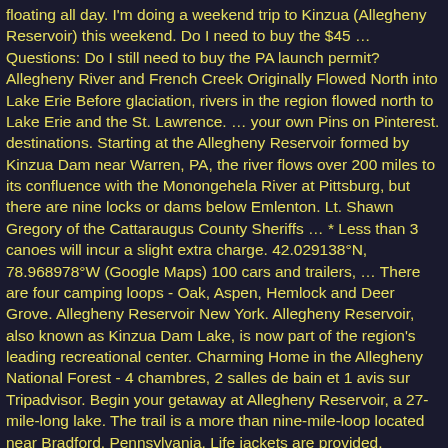floating all day. I'm doing a weekend trip to Kinzua (Allegheny Reservoir) this weekend. Do I need to buy the $45 … Questions: Do I still need to buy the PA launch permit? Allegheny River and French Creek Originally Flowed North into Lake Erie Before glaciation, rivers in the region flowed north to Lake Erie and the St. Lawrence. … your own Pins on Pinterest. destinations. Starting at the Allegheny Reservoir formed by Kinzua Dam near Warren, PA, the river flows over 200 miles to its confluence with the Monongehela River at Pittsburg, but there are nine locks or dams below Emlenton. Lt. Shawn Gregory of the Cattaraugus County Sheriffs … * Less than 3 canoes will incur a slight extra charge. 42.029138°N, 78.968978°W (Google Maps) 100 cars and trailers, … There are four camping loops - Oak, Aspen, Hemlock and Deer Grove. Allegheny Reservoir New York. Allegheny Reservoir, also known as Kinzua Dam Lake, is now part of the region's leading recreational center. Charming Home in the Allegheny National Forest - 4 chambres, 2 salles de bain et 1 avis sur Tripadvisor. Begin your getaway at Allegheny Reservoir, a 27-mile-long lake. The trail is a more than nine-mile-loop located near Bradford, Pennsylvania. Life jackets are provided. Christie's Book Rack: 309 Hickory … The reservoir, which does not allow powerboats, is perfect for a relaxing afternoon of kayaking. Enjoy the awe-inspiring 95 miles of shoreline in the Allegheny Reservoir. Wolf Run Marina for Docking & Restaurant. Discover (and save!) Saved by Darlene Sandor. Allegheny National Recreation Area - camping, kayaking, and fishing. Allegheny